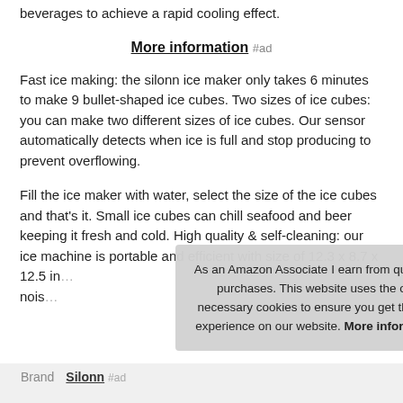beverages to achieve a rapid cooling effect.
More information #ad
Fast ice making: the silonn ice maker only takes 6 minutes to make 9 bullet-shaped ice cubes. Two sizes of ice cubes: you can make two different sizes of ice cubes. Our sensor automatically detects when ice is full and stop producing to prevent overflowing.
Fill the ice maker with water, select the size of the ice cubes and that's it. Small ice cubes can chill seafood and beer keeping it fresh and cold. High quality & self-cleaning: our ice machine is portable and efficient with size of 12.3 x 8.7 x 12.5 in... nois...
As an Amazon Associate I earn from qualifying purchases. This website uses the only necessary cookies to ensure you get the best experience on our website. More information
| Brand |  |
| --- | --- |
| Brand | Silonn #ad |